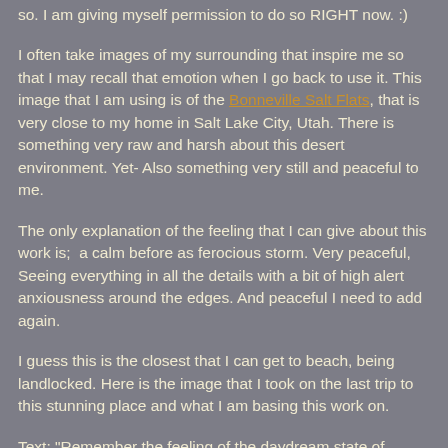so. I am giving myself permission to do so RIGHT now. :)
I often take images of my surrounding that inspire me so that I may recall that emotion when I go back to use it. This image that I am using is of the Bonneville Salt Flats, that is very close to my home in Salt Lake City, Utah. There is something very raw and harsh about this desert environment. Yet- Also something very still and peaceful to me.
The only explanation of the feeling that I can give about this work is;  a calm before as ferocious storm. Very peaceful, Seeing everything in all the details with a bit of high alert anxiousness around the edges. And peaceful I need to add again.
I guess this is the closest that I can get to beach, being landlocked. Here is the image that I took on the last trip to this stunning place and what I am basing this work on.
Text: "Remember the feeling of the daydream state of creation."